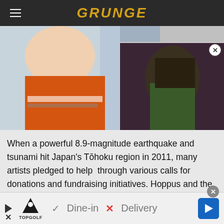GRUNGE
[Figure (photo): Two-panel image: left panel shows a person in an orange jersey laughing, right panel shows a music video thumbnail of a person with dreadlocks with a play button overlay]
When a powerful 8.9-magnitude earthquake and tsunami hit Japan's Tōhoku region in 2011, many artists pledged to help  through various calls for donations and fundraising initiatives. Hoppus and the rest of Blink-182, which had just reunited at the time, pledged their support as well.
[Figure (photo): Advertisement banner: Topgolf ad showing Dine-in with checkmark and Delivery with X, with navigation arrow button]